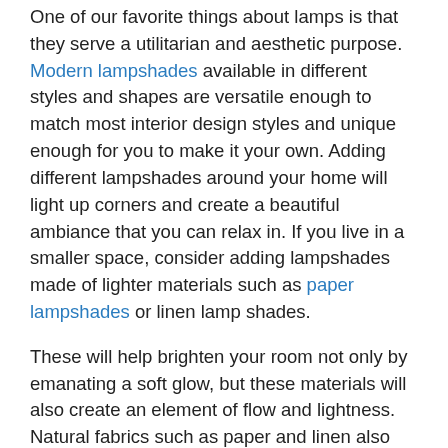One of our favorite things about lamps is that they serve a utilitarian and aesthetic purpose. Modern lampshades available in different styles and shapes are versatile enough to match most interior design styles and unique enough for you to make it your own. Adding different lampshades around your home will light up corners and create a beautiful ambiance that you can relax in. If you live in a smaller space, consider adding lampshades made of lighter materials such as paper lampshades or linen lamp shades.
These will help brighten your room not only by emanating a soft glow, but these materials will also create an element of flow and lightness. Natural fabrics such as paper and linen also add textures to your space making it visually appealing and relaxing at the same time.